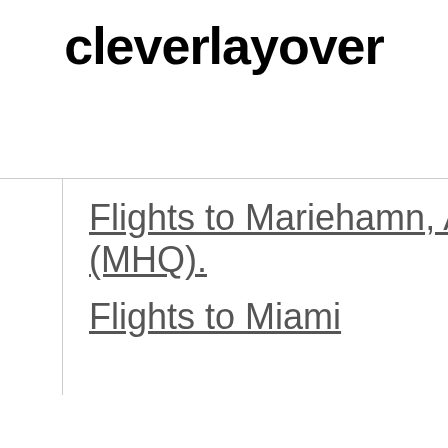cleverlayover
Flights to Mariehamn, Aland, Finland (MHQ).
Flights to Miami